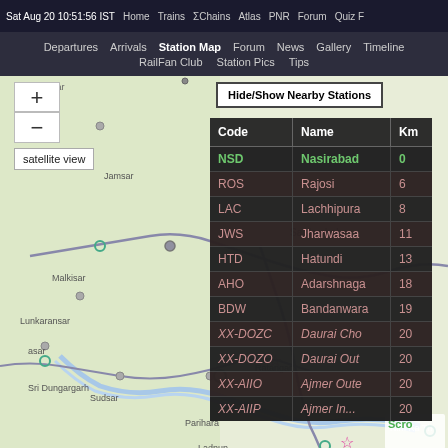Sat Aug 20 10:51:56 IST   Home   Trains   ΣChains   Atlas   PNR   Forum   Quiz F
Departures   Arrivals   Station Map   Forum   News   Gallery   Timeline   RailFan Club   Station Pics   Tips
[Figure (map): Interactive rail map showing stations around Nasirabad area in Rajasthan, India with route lines and location markers]
| Code | Name | Km |
| --- | --- | --- |
| NSD | Nasirabad | 0 |
| ROS | Rajosi | 6 |
| LAC | Lachhipura | 8 |
| JWS | Jharwasaa | 11 |
| HTD | Hatundi | 13 |
| AHO | Adarshnaga | 18 |
| BDW | Bandanwara | 19 |
| XX-DOZC | Daurai Cho | 20 |
| XX-DOZO | Daurai Out | 20 |
| XX-AIIO | Ajmer Oute | 20 |